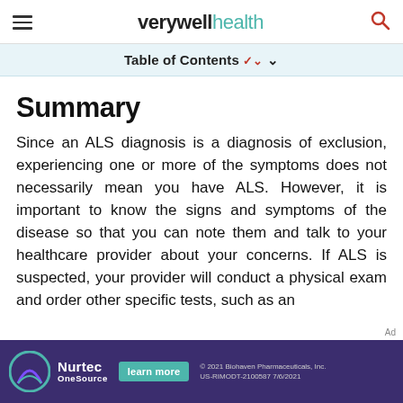verywell health
Table of Contents
Summary
Since an ALS diagnosis is a diagnosis of exclusion, experiencing one or more of the symptoms does not necessarily mean you have ALS. However, it is important to know the signs and symptoms of the disease so that you can note them and talk to your healthcare provider about your concerns. If ALS is suspected, your provider will conduct a physical exam and order other specific tests, such as an
[Figure (screenshot): Advertisement banner for Nurtec OneSource by Biohaven Pharmaceuticals. Dark purple background with Nurtec OneSource logo, a teal 'learn more' button, and copyright text: © 2021 Biohaven Pharmaceuticals, Inc. US-RIMODT-2100587 7/6/2021]